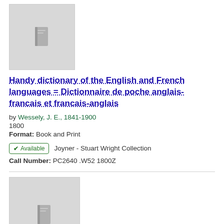[Figure (illustration): Gray book thumbnail placeholder image with a small book icon in the center]
Handy dictionary of the English and French languages = Dictionnaire de poche anglais-francais et francais-anglais
by Wessely, J. E., 1841-1900
1800
Format: Book and Print
✔ Available   Joyner - Stuart Wright Collection
Call Number: PC2640 .W52 1800Z
[Figure (illustration): Gray book thumbnail placeholder image with a small book icon in the center]
The history of Henry Esmond, Esq